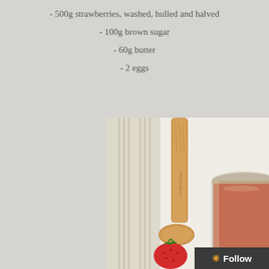- 500g strawberries, washed, hulled and halved
- 100g brown sugar
- 60g butter
- 2 eggs
[Figure (photo): Overhead photo of a wooden spoon on a striped linen cloth next to a glass jar filled with strawberry curd and a fresh strawberry at the bottom of the spoon. Watermark reads ©DeVitaBeata.]
Follow